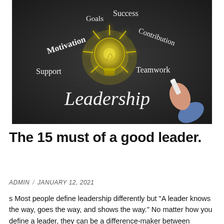[Figure (illustration): Chalkboard illustration with a glowing yellow light bulb in the center and words written in chalk around it: Motivation, Goals, Success, Contribution, Support, Teamwork, Leadership. A hand holding a piece of chalk is visible on the right side.]
The 15 must of a good leader.
ADMIN / JANUARY 12, 2021
s Most people define leadership differently but "A leader knows the way, goes the way, and shows the way." No matter how you define a leader, they can be a difference-maker between success and failure. In business, your goal should be to become